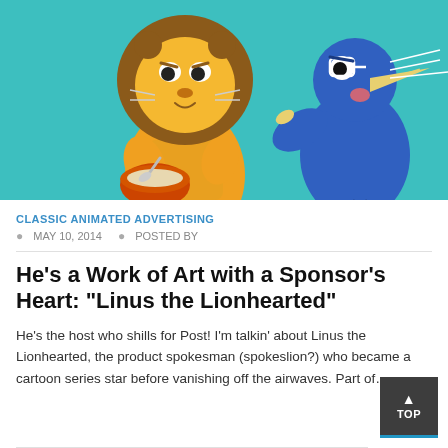[Figure (illustration): Cartoon illustration of two characters on a teal/turquoise background: a yellow lion wearing a shirt and holding a bowl of cereal with a spoon, and a blue bird character pointing at the lion, both with exaggerated animated expressions.]
CLASSIC ANIMATED ADVERTISING
MAY 10, 2014   POSTED BY
He's a Work of Art with a Sponsor's Heart: “Linus the Lionhearted”
He’s the host who shills for Post! I’m talkin’ about Linus the Lionhearted, the product spokesman (spokeslion?) who became a cartoon series star before vanishing off the airwaves. Part of…